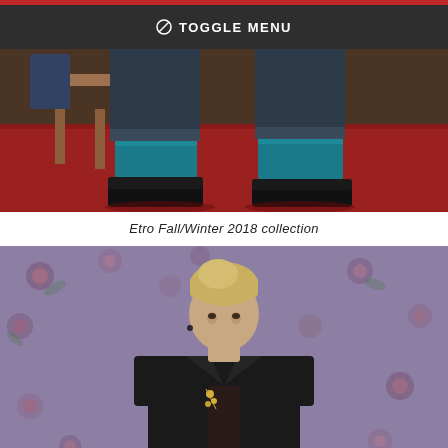TOGGLE MENU
[Figure (photo): Close-up of a man's legs wearing cuffed dark jeans, teal/blue socks, and black loafers, standing on a red carpet next to a wooden mid-century modern bench. Etro Fall/Winter 2018 collection.]
Etro Fall/Winter 2018 collection
[Figure (photo): A young man with blonde hair wearing a dark blazer with a floral brooch over a patterned dark shirt, standing in front of a purple floral wallpaper background. Etro Fall/Winter 2018 collection.]